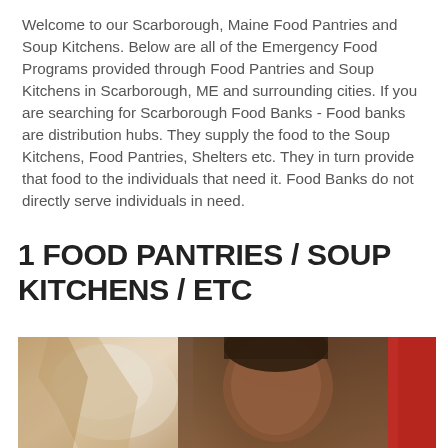Welcome to our Scarborough, Maine Food Pantries and Soup Kitchens. Below are all of the Emergency Food Programs provided through Food Pantries and Soup Kitchens in Scarborough, ME and surrounding cities. If you are searching for Scarborough Food Banks - Food banks are distribution hubs. They supply the food to the Soup Kitchens, Food Pantries, Shelters etc. They in turn provide that food to the individuals that need it. Food Banks do not directly serve individuals in need.
1 FOOD PANTRIES / SOUP KITCHENS / ETC
[Figure (photo): A woman holding a plastic bag at a food pantry distribution, with a red background visible on the right side.]